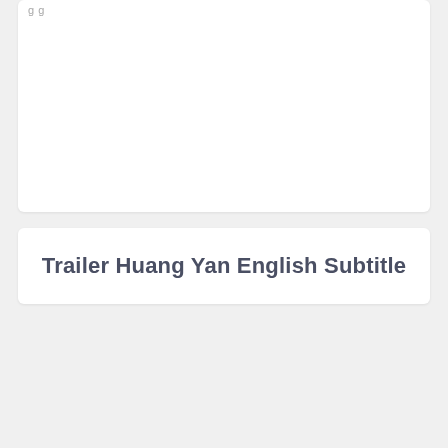...
Trailer Huang Yan English Subtitle